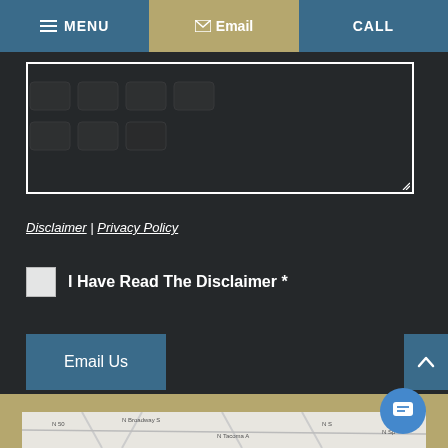MENU | Email | CALL
[Figure (screenshot): Dark overlay on keyboard background image with a white-bordered textarea input field]
Disclaimer | Privacy Policy
I Have Read The Disclaimer *
Email Us
[Figure (map): Partial street map showing N Tacoma Ave and surrounding streets]